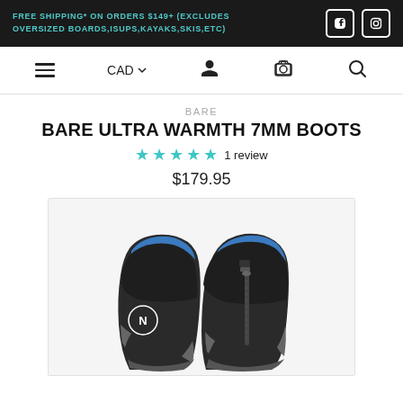FREE SHIPPING* ON ORDERS $149+ (EXCLUDES OVERSIZED BOARDS,ISUPS,KAYAKS,SKIS,ETC)
CAD
BARE
BARE ULTRA WARMTH 7MM BOOTS
1 review
$179.95
[Figure (photo): Two black neoprene diving boots with blue interior lining, zipper on the front, and a logo on the side]